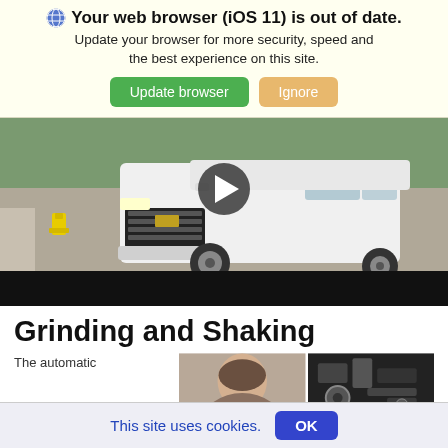Your web browser (iOS 11) is out of date. Update your browser for more security, speed and the best experience on this site.
Update browser | Ignore
[Figure (screenshot): Video thumbnail showing a white Chevrolet SUV driving on a road with a yellow fire hydrant visible on the left and trees in the background. A play button icon is overlaid in the center.]
Grinding and Shaking
The automatic
[Figure (photo): Two thumbnail images side by side: left shows a person's head, right shows a close-up of a mechanical/engine component.]
This site uses cookies.
OK